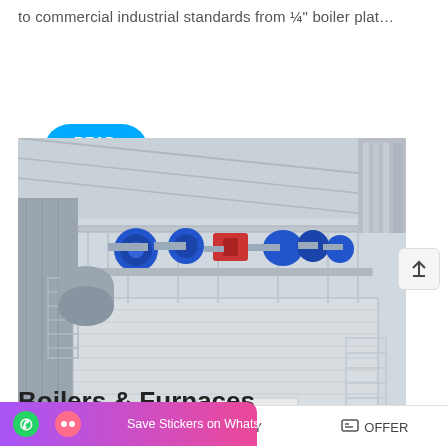to commercial industrial standards from ¼" boiler plat…
READ MORE
[Figure (photo): Industrial steam boiler or furnace system inside a facility. Large horizontal vessel with blue motors, red components, piping, cage-style walkways, ladders, and a white enclosure with Chinese/Korean branding logo.]
Save Stickers on WhatsApp
Boilers & Furnaces
MAIL  ADVISORY  OFFER